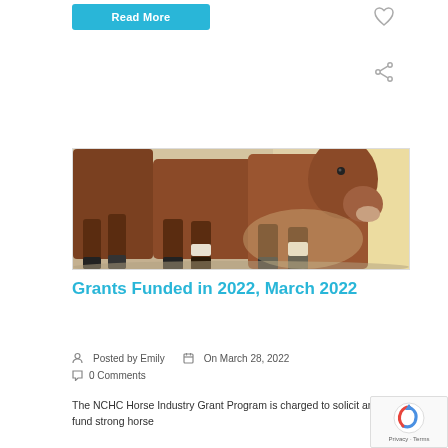Read More
[Figure (photo): Photo of horses walking, showing their legs and lower bodies from a close angle, brown horses on sandy ground with dry grass background]
Grants Funded in 2022, March 2022
Posted by Emily   On March 28, 2022
0 Comments
The NCHC Horse Industry Grant Program is charged to solicit and fund strong horse